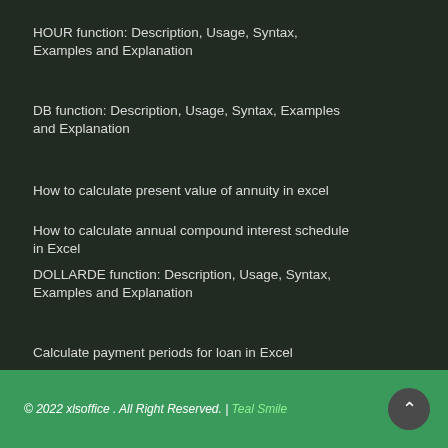HOUR function: Description, Usage, Syntax, Examples and Explanation
DB function: Description, Usage, Syntax, Examples and Explanation
How to calculate present value of annuity in excel
How to calculate annual compound interest schedule in Excel
DOLLARDE function: Description, Usage, Syntax, Examples and Explanation
Calculate payment periods for loan in Excel
© 2022 xlsoffice . All Right Reserved. | Teal Smile